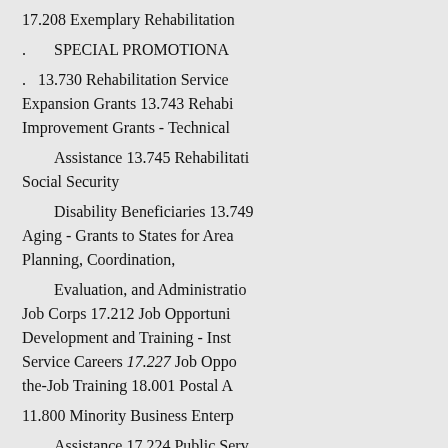17.208 Exemplary Rehabilitation
. SPECIAL PROMOTIONA
. 13.730 Rehabilitation Service Expansion Grants 13.743 Rehabi Improvement Grants - Technical Assistance 13.745 Rehabilitati Social Security
Disability Beneficiaries 13.749 Aging - Grants to States for Area Planning, Coordination,
Evaluation, and Administratio Job Corps 17.212 Job Opportuni Development and Training - Inst Service Careers 17.227 Job Oppo the-Job Training 18.001 Postal A
11.800 Minority Business Enterp
Assistance 17.224 Public Serv Special Employment Assistance Discrimination - Technical Assis
Unions, and Employment Age